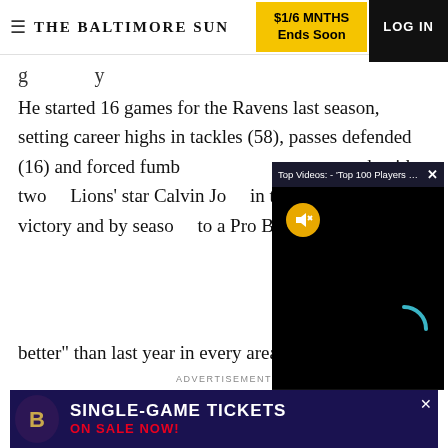THE BALTIMORE SUN | $1/6 MNTHS Ends Soon | LOG IN
He started 16 games for the Ravens last season, setting career highs in tackles (58), passes defended (16) and forced fumb… career mark with two… Lions' star Calvin Jo… in the NFL, to six ca… victory and by seaso… to a Pro Bowl level.
[Figure (screenshot): Video overlay popup showing 'Top Videos: - Top 100 Players of 2022': ... with a black video player area showing a mute button (orange circle with speaker icon) and a loading spinner (teal arc)]
better" than last year in every area — causing more
ADVERTISEMENT
[Figure (photo): Baltimore Ravens single-game tickets advertisement banner with Ravens logo on purple/dark background and text 'SINGLE-GAME TICKETS ON SALE NOW!']